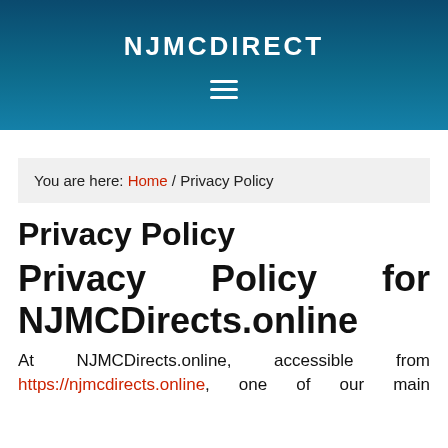NJMCDIRECT
You are here: Home / Privacy Policy
Privacy Policy
Privacy Policy for NJMCDirects.online
At NJMCDirects.online, accessible from https://njmcdirects.online, one of our main